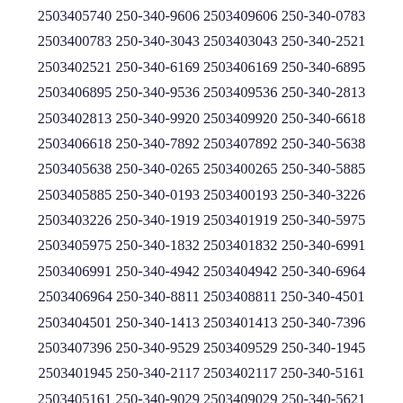2503405740 250-340-9606 2503409606 250-340-0783 2503400783 250-340-3043 2503403043 250-340-2521 2503402521 250-340-6169 2503406169 250-340-6895 2503406895 250-340-9536 2503409536 250-340-2813 2503402813 250-340-9920 2503409920 250-340-6618 2503406618 250-340-7892 2503407892 250-340-5638 2503405638 250-340-0265 2503400265 250-340-5885 2503405885 250-340-0193 2503400193 250-340-3226 2503403226 250-340-1919 2503401919 250-340-5975 2503405975 250-340-1832 2503401832 250-340-6991 2503406991 250-340-4942 2503404942 250-340-6964 2503406964 250-340-8811 2503408811 250-340-4501 2503404501 250-340-1413 2503401413 250-340-7396 2503407396 250-340-9529 2503409529 250-340-1945 2503401945 250-340-2117 2503402117 250-340-5161 2503405161 250-340-9029 2503409029 250-340-5621 2503405621 250-340-1951 2503401951 250-340-7862 2503407862 250-340-6549 2503406549 250-340-7503 2503407503 250-340-8553 2503408553 250-340-8600 2503408600 250-340-0262 2503400262 250-340-8463 2503408463 250-340-6191 2503406191 250-340-8306 2503408306 250-340-1172 2503401172 250-340-3025 2503403025 250-340-6295 2503406295 250-340-2683 2503402683 250-340-3261 2503403261 250-340-4049 2503404049 250-340-1784 2503401784 250-340-0550